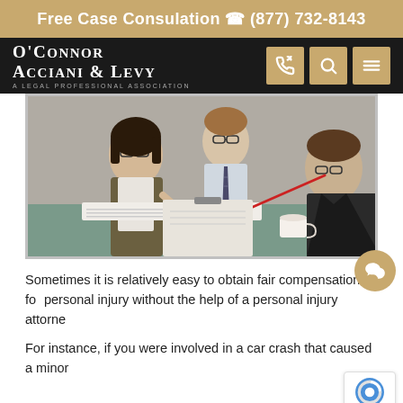Free Case Consulation ☎ (877) 732-8143
[Figure (logo): O'Connor Acciani & Levy — A Legal Professional Association logo in white on dark background]
[Figure (photo): Three people sitting at a table in a professional legal consultation setting. A woman with glasses and dark hair signs documents, while two men look on, one pointing with a red pen.]
Sometimes it is relatively easy to obtain fair compensation for personal injury without the help of a personal injury attorney.
For instance, if you were involved in a car crash that caused a minor